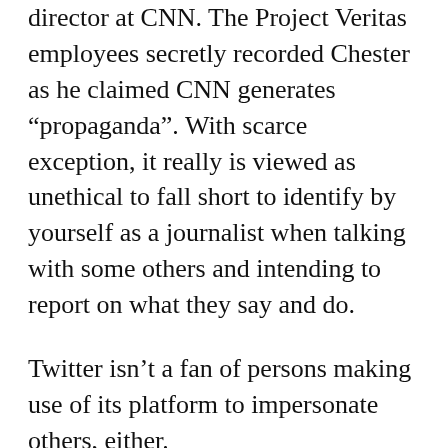director at CNN. The Project Veritas employees secretly recorded Chester as he claimed CNN generates “propaganda”. With scarce exception, it really is viewed as unethical to fall short to identify by yourself as a journalist when talking with some others and intending to report on what they say and do.
Twitter isn’t a fan of persons making use of its platform to impersonate others, either.
On Telegram, O’Keefe vehemently denied Twitter’s declare and introduced his intention to file fit from Twitter for defamation on Monday,